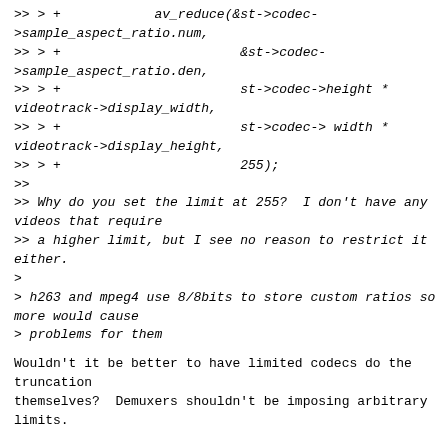>> > +            av_reduce(&st->codec->sample_aspect_ratio.num,
>> > +                       &st->codec->sample_aspect_ratio.den,
>> > +                       st->codec->height * videotrack->display_width,
>> > +                       st->codec-> width * videotrack->display_height,
>> > +                       255);
>>
>> Why do you set the limit at 255?  I don't have any videos that require
>> a higher limit, but I see no reason to restrict it either.
>
> h263 and mpeg4 use 8/8bits to store custom ratios so more would cause
> problems for them

Wouldn't it be better to have limited codecs do the truncation
themselves?  Demuxers shouldn't be imposing arbitrary limits.

--
M?ns Rullg?rd
mru at inprovide.com